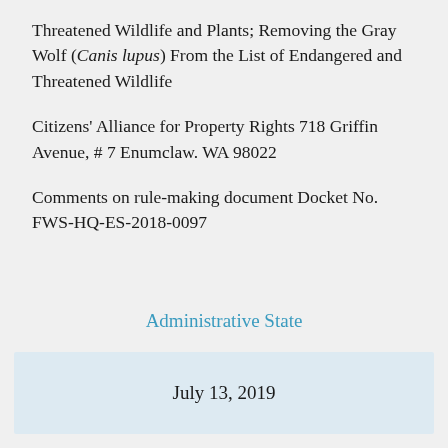Threatened Wildlife and Plants; Removing the Gray Wolf (Canis lupus) From the List of Endangered and Threatened Wildlife
Citizens' Alliance for Property Rights 718 Griffin Avenue, # 7 Enumclaw. WA 98022
Comments on rule-making document Docket No. FWS-HQ-ES-2018-0097
Administrative State
July 13, 2019